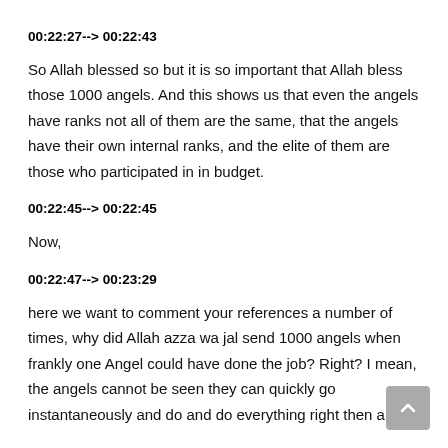00:22:27--> 00:22:43
So Allah blessed so but it is so important that Allah bless those 1000 angels. And this shows us that even the angels have ranks not all of them are the same, that the angels have their own internal ranks, and the elite of them are those who participated in in budget.
00:22:45--> 00:22:45
Now,
00:22:47--> 00:23:29
here we want to comment your references a number of times, why did Allah azza wa jal send 1000 angels when frankly one Angel could have done the job? Right? I mean, the angels cannot be seen they can quickly go instantaneously and do and do everything right then and